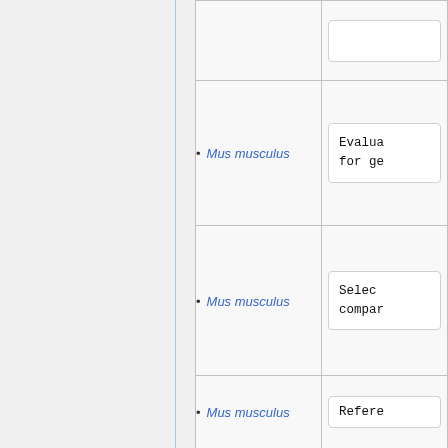| Species | Description |
| --- | --- |
| Mus musculus | (partial top row cut off) |
| Mus musculus | Evalua
for ge |
| Mus musculus | Selec
compar |
| Mus musculus | Refere |